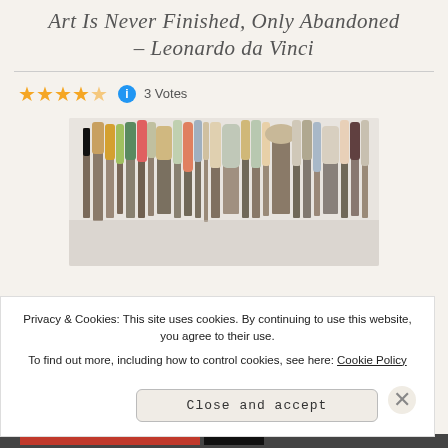Art Is Never Finished, Only Abandoned – Leonardo da Vinci
3 Votes
[Figure (photo): A collection of various artist paint brushes arranged upright, showing bristle tips of different shapes, sizes and colors against a light background.]
Privacy & Cookies: This site uses cookies. By continuing to use this website, you agree to their use. To find out more, including how to control cookies, see here: Cookie Policy
Close and accept